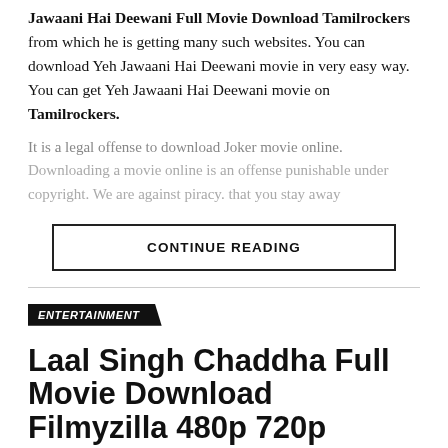Jawaani Hai Deewani Full Movie Download Tamilrockers from which he is getting many such websites. You can download Yeh Jawaani Hai Deewani movie in very easy way. You can get Yeh Jawaani Hai Deewani movie on Tamilrockers.
It is a legal offense to download Joker movie online. Downloading a movie online is an offense punishable under copyright. We are against piracy. that you stay away
CONTINUE READING
ENTERTAINMENT
Laal Singh Chaddha Full Movie Download Filmyzilla 480p 720p 1080p BollyAa